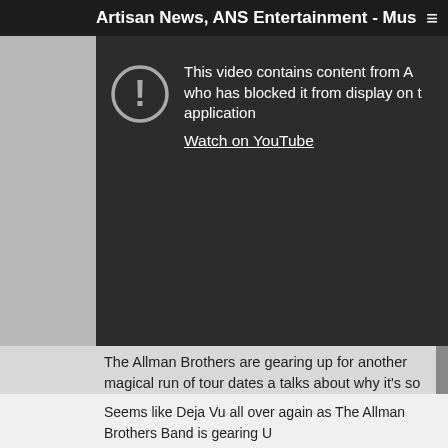Artisan News, ANS Entertainment - Mus
[Figure (screenshot): YouTube video blocked message panel showing exclamation icon in circle and text: 'This video contains content from A who has blocked it from display on this application' with 'Watch on YouTube' link]
The Allman Brothers are gearing up for another magical run of tour dates a talks about why it's so special
Seems like Deja Vu all over again as The Allman Brothers Band is gearing U Beacon Theater in New York City. Although originally from Macon, Georgia become the band's hometown and The Beacon Theater has undoubtedly the band perform 15 shows throughout the month of March beginning Ma The Allman Brothers are notorious for bringing their A game to the Beaco